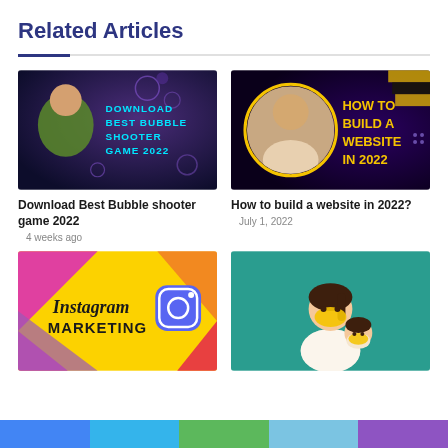Related Articles
[Figure (illustration): Thumbnail for 'Download Best Bubble Shooter Game 2022' article — dark purple/blue gaming background with a person on the left]
Download Best Bubble shooter game 2022
4 weeks ago
[Figure (illustration): Thumbnail for 'How to build a website in 2022?' — dark purple background with yellow text and a man's photo]
How to build a website in 2022?
July 1, 2022
[Figure (illustration): Thumbnail for Instagram Marketing article — colorful geometric background with Instagram logo]
[Figure (illustration): Thumbnail for a fourth article — teal background with illustrated figure of a person wearing mask]